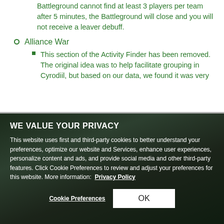Battleground cannot find at least 3 players per team after 5 minutes, the Battleground will close and you will not receive a leaver debuff.
Alliance War
This section of the Activity Finder has been removed. The original idea was to help facilitate grouping in Cyrodiil, but based on our data, we found it was very
WE VALUE YOUR PRIVACY
This website uses first and third-party cookies to better understand your preferences, optimize our website and Services, enhance user experiences, personalize content and ads, and provide social media and other third-party features. Click Cookie Preferences to review and adjust your preferences for this website. More information:  Privacy Policy
Cookie Preferences   OK